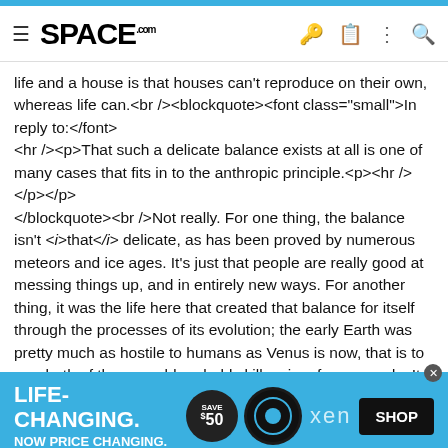SPACE.com
life and a house is that houses can't reproduce on their own, whereas life can.<br /><blockquote><font class="small">In reply to:</font><hr /><p>That such a delicate balance exists at all is one of many cases that fits in to the anthropic principle.<p><hr /></p></p></blockquote><br />Not really. For one thing, the balance isn't <i>that</i> delicate, as has been proved by numerous meteors and ice ages. It's just that people are really good at messing things up, and in entirely new ways. For another thing, it was the life here that created that balance for itself through the processes of its evolution; the early Earth was pretty much as hostile to humans as Venus is now, that is to say, both of them would probably kill us in a few seconds. It took hundreds of millions of years for life to get our atmosphere and oceans and so on to the way they are now. <div class="Discussion_UserSignature"> <p>______________</p>
[Figure (infographic): Advertisement banner: LIFE-CHANGING. NOW PRICE CHANGING. Save $50 badge, Xen product image, XEN logo, SHOP button]